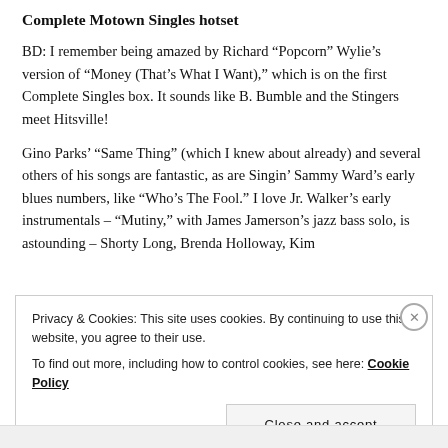Complete Motown Singles hotset
BD: I remember being amazed by Richard “Popcorn” Wylie’s version of “Money (That’s What I Want),” which is on the first Complete Singles box. It sounds like B. Bumble and the Stingers meet Hitsville!
Gino Parks’ “Same Thing” (which I knew about already) and several others of his songs are fantastic, as are Singin’ Sammy Ward’s early blues numbers, like “Who’s The Fool.” I love Jr. Walker’s early instrumentals – “Mutiny,” with James Jamerson’s jazz bass solo, is astounding – Shorty Long, Brenda Holloway, Kim
Privacy & Cookies: This site uses cookies. By continuing to use this website, you agree to their use.
To find out more, including how to control cookies, see here: Cookie Policy
Close and accept